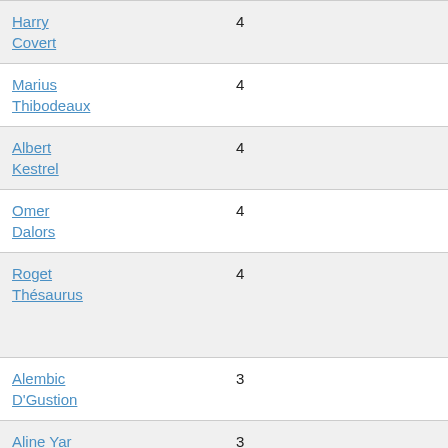| Name | Col2 | Col3 | Col4 | Notes | Person | Extra |
| --- | --- | --- | --- | --- | --- | --- |
| Harry Covert | 4 |  | n/a |  |  |  |
| Marius Thibodeaux | 4 |  | 9 |  | Flora Pernet | Red Philli… |
| Albert Kestrel | 4 |  | 7 |  | Élisabeth Beaumont | Red Philli… |
| Omer Dalors | 4 |  | 4 | 13th Fusiliers, Captain |  |  |
| Roget Thésaurus | 4 |  | 4 | Grand Duke Maximillian Dragoons, Private |  | Red Philli… |
| Alembic D'Gustion | 3 |  | n/a |  |  |  |
| Aline Yar | 3 |  | 3 |  |  | Red Philli… |
| Jean Huile | 3 | -1 | -1 | Picardy Musketeers, |  |  |